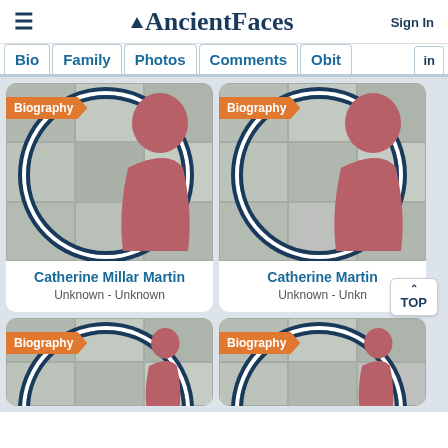AncientFaces | Sign In
Bio  Family  Photos  Comments  Obit
[Figure (illustration): Profile card for Catherine Millar Martin with Biography ribbon, circular frame with collage background and female silhouette. Dates: Unknown - Unknown]
[Figure (illustration): Profile card for Catherine Martin with Biography ribbon, circular frame with collage background and female silhouette. Dates: Unknown - Unkn (truncated)]
[Figure (illustration): Partial profile card at bottom left with Biography ribbon, beginning of circular frame visible]
[Figure (illustration): Partial profile card at bottom right with Biography ribbon, beginning of circular frame visible]